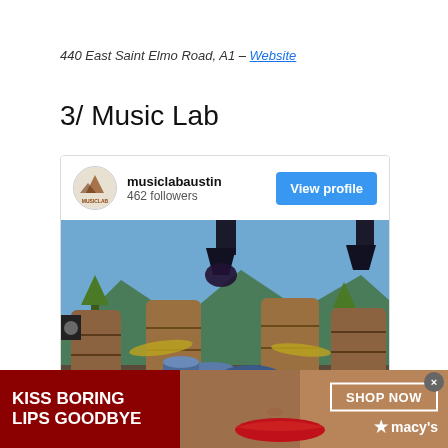440 East Saint Elmo Road, A1 – Website
3/ Music Lab
[Figure (screenshot): Instagram profile card for musiclabaustin with 462 followers and a View profile button, showing an outdoor drum kit setup with wooden barrels, cymbals, and stage lighting against a mountain/tree background]
[Figure (infographic): Macy's advertisement banner with dark red background, text 'KISS BORING LIPS GOODBYE' on left, a woman's face with red lips in the center-right, and 'SHOP NOW' button with Macy's star logo on the right]